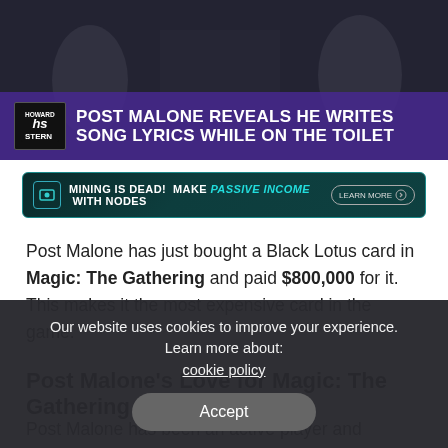[Figure (screenshot): Howard Stern show thumbnail with Post Malone and text overlay: POST MALONE REVEALS HE WRITES SONG LYRICS WHILE ON THE TOILET]
[Figure (screenshot): Advertisement banner: MINING IS DEAD! MAKE PASSIVE INCOME WITH NODES with a learn more button]
Post Malone has just bought a Black Lotus card in Magic: The Gathering and paid $800,000 for it. This makes it the most expensive card in the game.
Post Malone's Love for Magic: The Gathering
Post Malone has been an active player and advocate of the
Our website uses cookies to improve your experience. Learn more about: cookie policy Accept